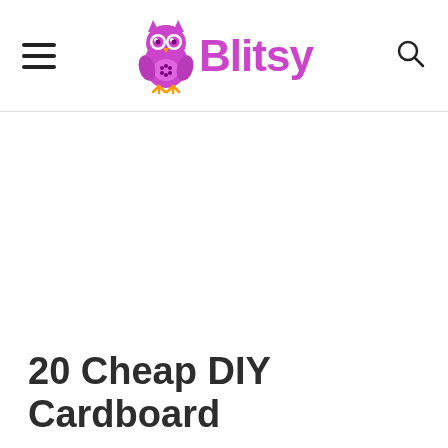Blitsy
20 Cheap DIY Cardboard Crafts and...